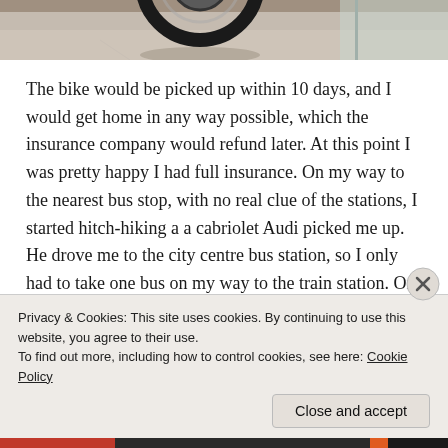[Figure (photo): Partial view of a motorcycle wheel at the bottom of the frame, on a paved surface near a glass door.]
The bike would be picked up within 10 days, and I would get home in any way possible, which the insurance company would refund later. At this point I was pretty happy I had full insurance. On my way to the nearest bus stop, with no real clue of the stations, I started hitch-hiking a a cabriolet Audi picked me up. He drove me to the city centre bus station, so I only had to take one bus on my way to the train station. On the bus the driver
Privacy & Cookies: This site uses cookies. By continuing to use this website, you agree to their use.
To find out more, including how to control cookies, see here: Cookie Policy
Close and accept